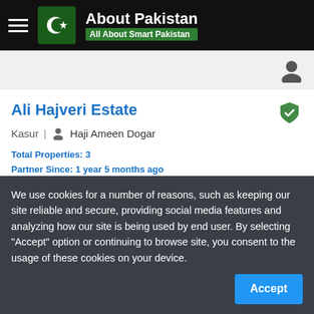About Pakistan — All About Smart Pakistan
Ali Hajveri Estate
Kasur  |  Haji Ameen Dogar
Total Properties: 3
Partner Since: 1 year 5 months ago
No Description Added..
We use cookies for a number of reasons, such as keeping our site reliable and secure, providing social media features and analyzing how our site is being used by end user. By selecting "Accept" option or continuing to browse site, you consent to the usage of these cookies on your device.